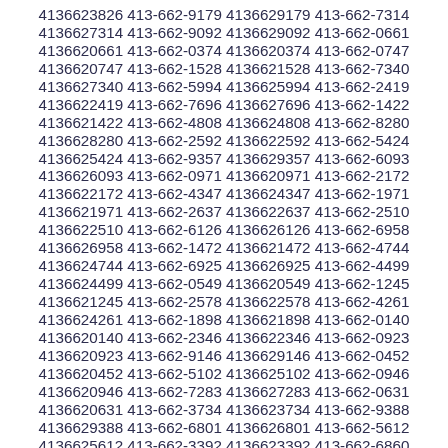4136623826 413-662-9179 4136629179 413-662-7314 4136627314 413-662-9092 4136629092 413-662-0661 4136620661 413-662-0374 4136620374 413-662-0747 4136620747 413-662-1528 4136621528 413-662-7340 4136627340 413-662-5994 4136625994 413-662-2419 4136622419 413-662-7696 4136627696 413-662-1422 4136621422 413-662-4808 4136624808 413-662-8280 4136628280 413-662-2592 4136622592 413-662-5424 4136625424 413-662-9357 4136629357 413-662-6093 4136626093 413-662-0971 4136620971 413-662-2172 4136622172 413-662-4347 4136624347 413-662-1971 4136621971 413-662-2637 4136622637 413-662-2510 4136622510 413-662-6126 4136626126 413-662-6958 4136626958 413-662-1472 4136621472 413-662-4744 4136624744 413-662-6925 4136626925 413-662-4499 4136624499 413-662-0549 4136620549 413-662-1245 4136621245 413-662-2578 4136622578 413-662-4261 4136624261 413-662-1898 4136621898 413-662-0140 4136620140 413-662-2346 4136622346 413-662-0923 4136620923 413-662-9146 4136629146 413-662-0452 4136620452 413-662-5102 4136625102 413-662-0946 4136620946 413-662-7283 4136627283 413-662-0631 4136620631 413-662-3734 4136623734 413-662-9388 4136629388 413-662-6801 4136626801 413-662-5612 4136625612 413-662-3392 4136623392 413-662-6860